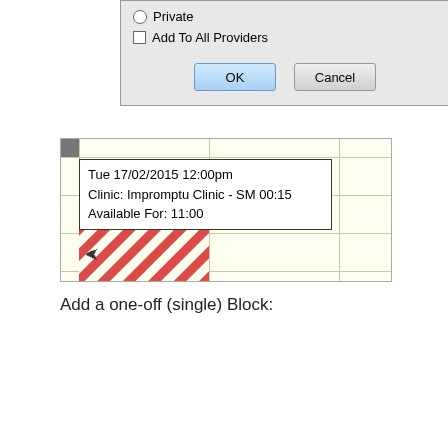[Figure (screenshot): Bottom portion of a dialog with Private radio button, Add To All Providers checkbox, and OK/Cancel buttons]
[Figure (screenshot): Scheduler grid showing tooltip: Tue 17/02/2015 12:00pm, Clinic: Impromptu Clinic - SM 00:15, Available For: 11:00, with red diagonal stripe pattern in lower left]
Add a one-off (single) Block:
[Figure (screenshot): Add Extra Block dialog with fields: Description (RGP), From Time (11:30am), To Time (11:45am), Start Date (17/02/2015), Repeat Interval (7 Days), End Date (17/02/2015), Add To All Providers checkbox]